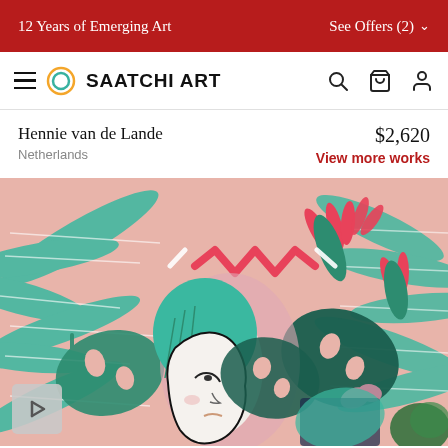12 Years of Emerging Art | See Offers (2)
[Figure (logo): Saatchi Art navigation bar with hamburger menu, circular logo, SAATCHI ART wordmark, search icon, cart icon, and user icon]
Hennie van de Lande
Netherlands
$2,620
View more works
[Figure (photo): Colorful painting by Hennie van de Lande featuring a woman's face in profile with teal/green hair, surrounded by tropical palm leaves and birds of paradise flowers on a pink background, with a bold red zigzag line near the top]